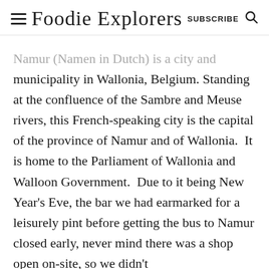Foodie Explorers SUBSCRIBE
Namur (Namen in Dutch) is a city and municipality in Wallonia, Belgium. Standing at the confluence of the Sambre and Meuse rivers, this French-speaking city is the capital of the province of Namur and of Wallonia.  It is home to the Parliament of Wallonia and Walloon Government.  Due to it being New Year's Eve, the bar we had earmarked for a leisurely pint before getting the bus to Namur closed early, never mind there was a shop open on-site, so we didn't